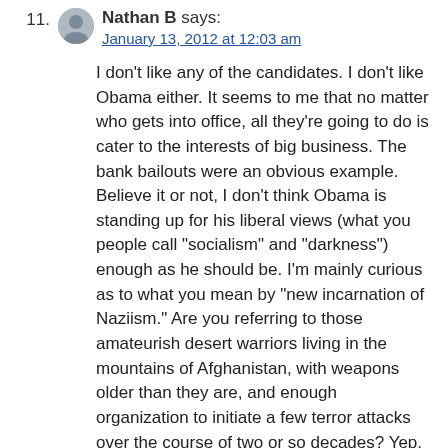11. Nathan B says: January 13, 2012 at 12:03 am
I don’t like any of the candidates. I don’t like Obama either. It seems to me that no matter who gets into office, all they’re going to do is cater to the interests of big business. The bank bailouts were an obvious example. Believe it or not, I don’t think Obama is standing up for his liberal views (what you people call “socialism” and “darkness”) enough as he should be. I’m mainly curious as to what you mean by “new incarnation of Naziism.” Are you referring to those amateurish desert warriors living in the mountains of Afghanistan, with weapons older than they are, and enough organization to initiate a few terror attacks over the course of two or so decades? Yep, they definitely sound like the Third Reich. That is, minus being the biggest superpower of its time, minus having the most advanced weaponry of it’s time, and minus the organization to bring death, destruction, and tyranny over an entire continent. Strange why it’s taking about 10 years to bring them down and